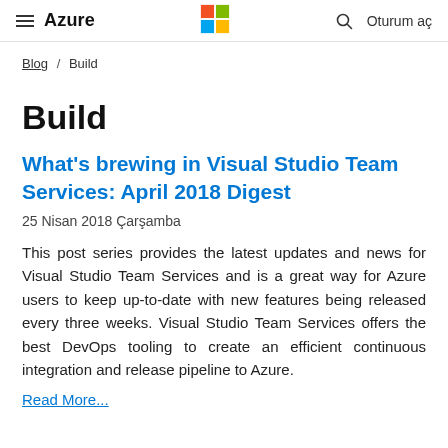≡ Azure  [Microsoft Logo]  🔍  Oturum aç
Blog / Build
Build
What's brewing in Visual Studio Team Services: April 2018 Digest
25 Nisan 2018 Çarşamba
This post series provides the latest updates and news for Visual Studio Team Services and is a great way for Azure users to keep up-to-date with new features being released every three weeks. Visual Studio Team Services offers the best DevOps tooling to create an efficient continuous integration and release pipeline to Azure.
Read More...